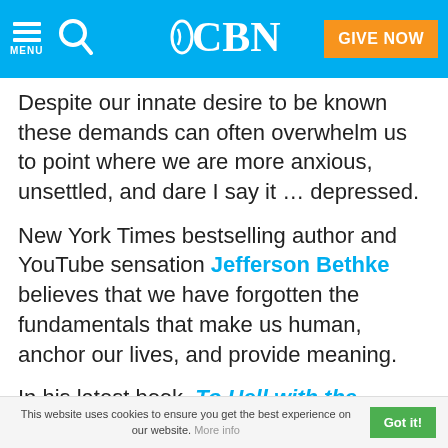MENU | CBN | GIVE NOW
Despite our innate desire to be known these demands can often overwhelm us to point where we are more anxious, unsettled, and dare I say it … depressed.
New York Times bestselling author and YouTube sensation Jefferson Bethke believes that we have forgotten the fundamentals that make us human, anchor our lives, and provide meaning.
In his latest book, To Hell with the Hustle: Reclaiming Your Life in an Overworked, Overspent, and Overconnected World, Bethke challenges readers to proactively set boundaries in your life and to push back
This website uses cookies to ensure you get the best experience on our website. More info | Got it!